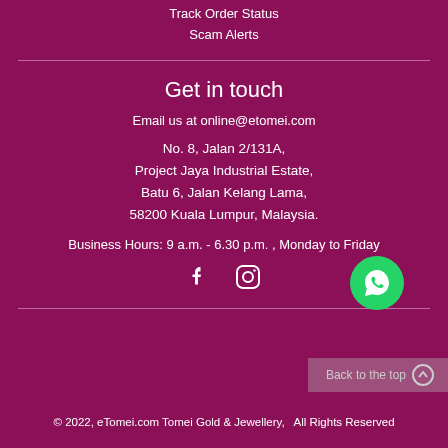Track Order Status
Scam Alerts
Get in touch
Email us at online@etomei.com
No. 8, Jalan 2/131A, Project Jaya Industrial Estate, Batu 6, Jalan Kelang Lama, 58200 Kuala Lumpur, Malaysia.
Business Hours: 9 a.m. - 6.30 p.m. , Monday to Friday
[Figure (logo): Facebook, Instagram, and WhatsApp social media icons]
Back to the top
© 2022, eTomei.com Tomei Gold & Jewellery,   All Rights Reserved